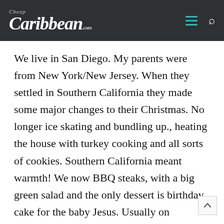Cheap Caribbean .com
We live in San Diego. My parents were from New York/New Jersey. When they settled in Southern California they made some major changes to their Christmas. No longer ice skating and bundling up., heating the house with turkey cooking and all sorts of cookies. Southern California meant warmth! We now BBQ steaks, with a big green salad and the only dessert is birthday cake for the baby Jesus. Usually on Christmas we head to the beach to watch the sunset and are singing with